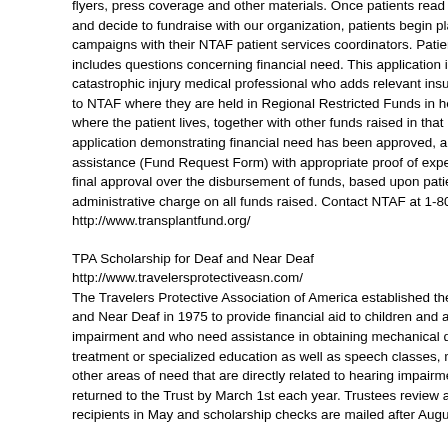flyers, press coverage and other materials. Once patients read through the information and decide to fundraise with our organization, patients begin planning individual campaigns with their NTAF patient services coordinators. Patients complete an application that includes questions concerning financial need. This application is reviewed by a catastrophic injury medical professional who adds relevant insurance information. Funds go to NTAF where they are held in Regional Restricted Funds in honor of the patient and where the patient lives, together with other funds raised in that region. Once an application demonstrating financial need has been approved, a patient may request assistance (Fund Request Form) with appropriate proof of expense. The Fund Manager has final approval over the disbursement of funds, based upon patient financial need. NTAF administrative charge on all funds raised. Contact NTAF at 1-800-642-8399 or http://www.transplantfund.org/
TPA Scholarship for Deaf and Near Deaf
http://www.travelersprotectiveasn.com/
The Travelers Protective Association of America established the TPA Scholarship for Deaf and Near Deaf in 1975 to provide financial aid to children and adults who have a hearing impairment and who need assistance in obtaining mechanical devices, medical or surgical treatment or specialized education as well as speech classes, note takers, interpreters and other areas of need that are directly related to hearing impairment. Completed applications must be returned to the Trust by March 1st each year. Trustees review all applications and notify recipients in May and scholarship checks are mailed after August 1st.
Travis Roy Foundation
Provides individual grant funds to modify vans and to purchase wheelcha...